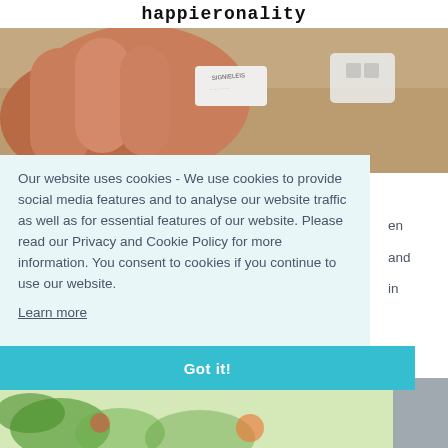happieronality
[Figure (photo): Close-up photo of a hand holding a small white label or sticker, with another white rectangular object visible in the background on a textured surface.]
Our website uses cookies - We use cookies to provide social media features and to analyse our website traffic as well as for essential features of our website. Please read our Privacy and Cookie Policy for more information. You consent to cookies if you continue to use our website.
Learn more
en and in
Got it!
[Figure (photo): Bottom portion of a colorful image, partially visible, showing tropical or floral patterns.]